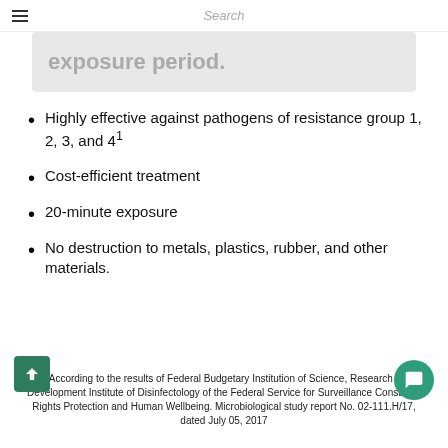Search
exposure period.
Highly effective against pathogens of resistance group 1, 2, 3, and 4¹
Cost-efficient treatment
20-minute exposure
No destruction to metals, plastics, rubber, and other materials.
1 - According to the results of Federal Budgetary Institution of Science, Research and Development Institute of Disinfectology of the Federal Service for Surveillance Consumer Rights Protection and Human Wellbeing. Microbiological study report No. 02-111.H/17, dated July 05, 2017